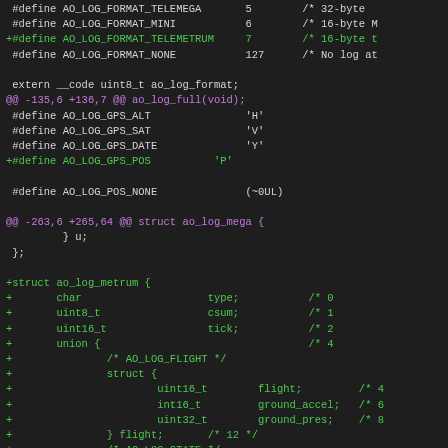[Figure (screenshot): Source code diff view showing C header file changes for AltOS logging format definitions and struct ao_log_metrum, with added lines in green and diff hunk headers in magenta on a dark background.]